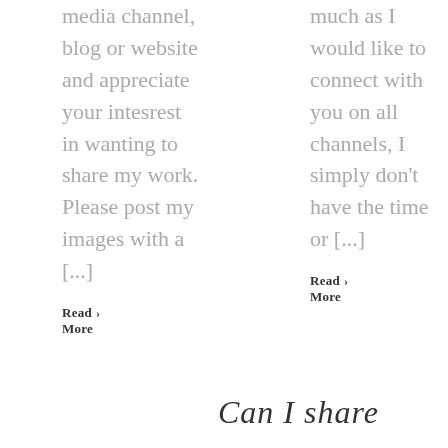media channel, blog or website and appreciate your intesrest in wanting to share my work. Please post my images with a [...]
Read › More
much as I would like to connect with you on all channels, I simply don't have the time or [...]
Read › More
[Figure (illustration): Cursive script signature or stylized text reading 'Can I share' in handwritten style at bottom right]